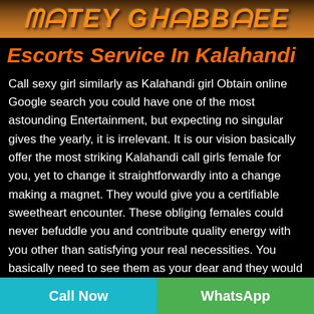[Figure (photo): Partial decorative photo banner with stylized italic text overlay showing a name/brand]
Escorts Service In Kalahandi
Call sexy girl similarly as Kalahandi girl Obtain online Google search you could have one of the most astounding Entertainment, but expecting no singular gives the yearly, it is irrelevant. It is our vision basically offer the most striking Kalahandi call girls female for you, yet to change it straightforwardly into a change making a magnet. They would give you a certifiable sweetheart encounter. These obliging females could never befuddle you and contribute quality energy with you other than satisfying your real necessities. You basically need to see them as your dear and they would be in the individual. Fit call sexy girl in Kalahandi come up from renowned areas of the
Call Now   WhatsApp